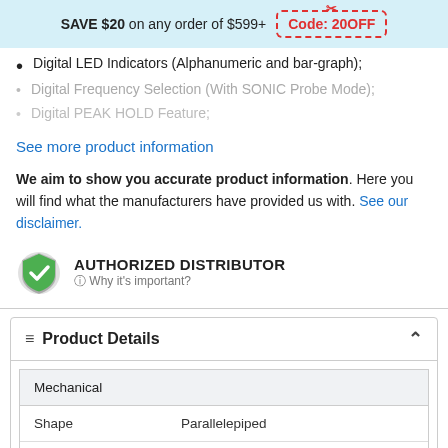SAVE $20 on any order of $599+ Code: 20OFF
Digital LED Indicators (Alphanumeric and bar-graph);
Digital Frequency Selection (With SONIC Probe Mode);
Digital PEAK HOLD Feature;
See more product information
We aim to show you accurate product information. Here you will find what the manufacturers have provided us with. See our disclaimer.
[Figure (logo): Green and grey shield checkmark icon - Authorized Distributor badge with text AUTHORIZED DISTRIBUTOR and Why it's important?]
Product Details
|  |  |
| --- | --- |
| Mechanical |  |
| Shape | Parallelepiped |
|  | (LWD) 7.075" (17.97cm) X 2.4" (61mm) X |